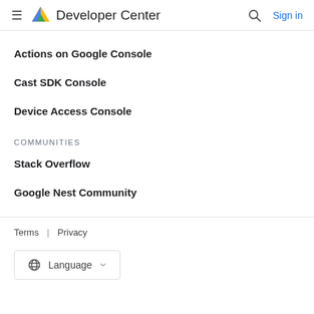Developer Center | Sign in
Actions on Google Console
Cast SDK Console
Device Access Console
COMMUNITIES
Stack Overflow
Google Nest Community
Terms | Privacy
Language